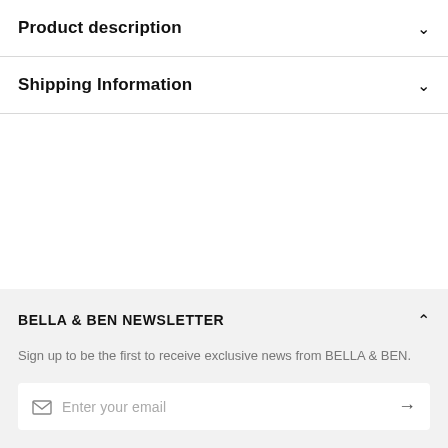Product description
Shipping Information
BELLA & BEN NEWSLETTER
Sign up to be the first to receive exclusive news from BELLA & BEN.
Enter your email